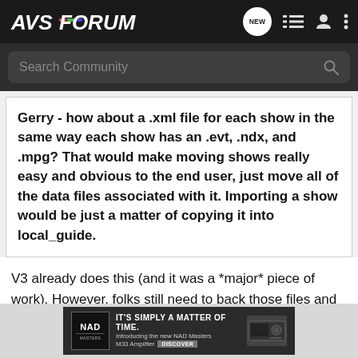AVS FORUM
Search Community
Gerry - how about a .xml file for each show in the same way each show has an .evt, .ndx, and .mpg? That would make moving shows really easy and obvious to the end user, just move all of the data files associated with it. Importing a show would be just a matter of copying it into local_guide.
V3 already does this (and it was a *major* piece of work). However, folks still need to back those files and the DVArchive.xml up. There is only so much I can do programtically....